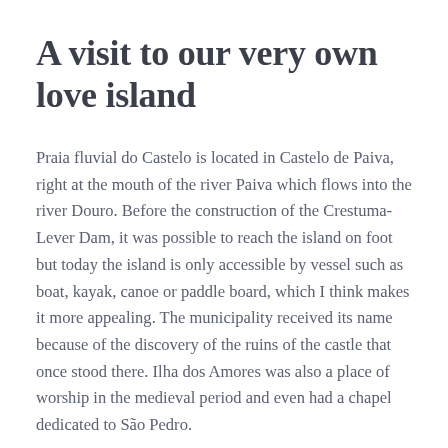A visit to our very own love island
Praia fluvial do Castelo is located in Castelo de Paiva, right at the mouth of the river Paiva which flows into the river Douro. Before the construction of the Crestuma-Lever Dam, it was possible to reach the island on foot but today the island is only accessible by vessel such as boat, kayak, canoe or paddle board, which I think makes it more appealing. The municipality received its name because of the discovery of the ruins of the castle that once stood there. Ilha dos Amores was also a place of worship in the medieval period and even had a chapel dedicated to São Pedro.
It's not as far as I thought to reach the island from the